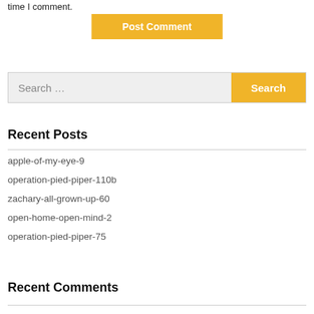time I comment.
Post Comment
Search …
Search
Recent Posts
apple-of-my-eye-9
operation-pied-piper-110b
zachary-all-grown-up-60
open-home-open-mind-2
operation-pied-piper-75
Recent Comments